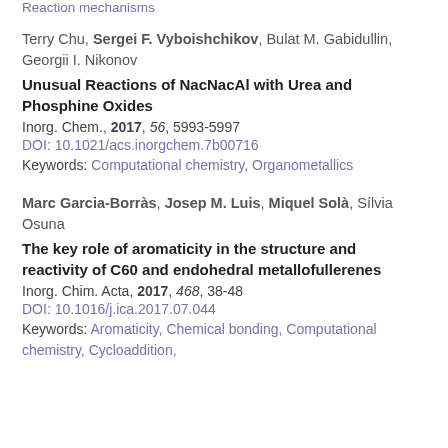Reaction mechanisms
Terry Chu, Sergei F. Vyboishchikov, Bulat M. Gabidullin, Georgii I. Nikonov
Unusual Reactions of NacNacAl with Urea and Phosphine Oxides
Inorg. Chem., 2017, 56, 5993-5997
DOI: 10.1021/acs.inorgchem.7b00716
Keywords: Computational chemistry, Organometallics
Marc Garcia-Borràs, Josep M. Luis, Miquel Solà, Sílvia Osuna
The key role of aromaticity in the structure and reactivity of C60 and endohedral metallofullerenes
Inorg. Chim. Acta, 2017, 468, 38-48
DOI: 10.1016/j.ica.2017.07.044
Keywords: Aromaticity, Chemical bonding, Computational chemistry, Cycloaddition,